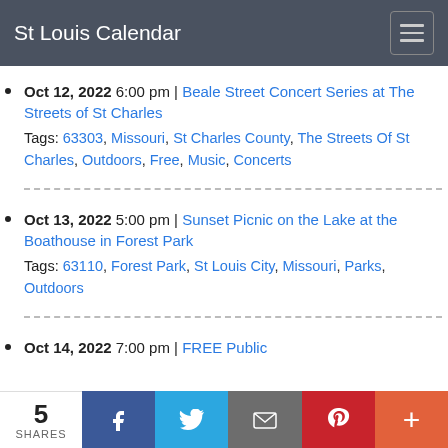St Louis Calendar
Oct 12, 2022 6:00 pm | Beale Street Concert Series at The Streets of St Charles
Tags: 63303, Missouri, St Charles County, The Streets Of St Charles, Outdoors, Free, Music, Concerts
Oct 13, 2022 5:00 pm | Sunset Picnic on the Lake at the Boathouse in Forest Park
Tags: 63110, Forest Park, St Louis City, Missouri, Parks, Outdoors
Oct 14, 2022 7:00 pm | FREE Public
5 SHARES | Facebook | Twitter | Email | Pinterest | More